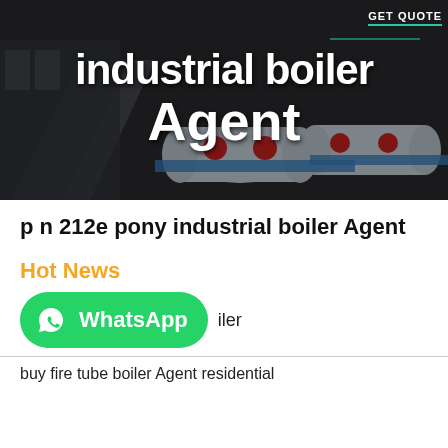[Figure (photo): Dark industrial background with blue industrial boilers/tanks in a factory setting. Overlay text reads 'industrial boiler Agent' with a GET QUOTE button in top right corner.]
p n 212e pony industrial boiler Agent
Hot News
[Figure (other): WhatsApp button (green rounded rectangle with WhatsApp logo and text 'WhatsApp') followed by the word 'iler']
buy fire tube boiler Agent residential